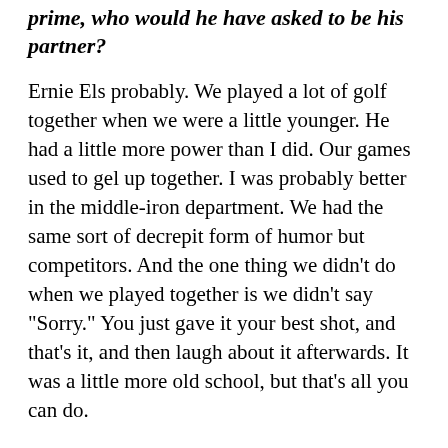prime, who would he have asked to be his partner?
Ernie Els probably. We played a lot of golf together when we were a little younger. He had a little more power than I did. Our games used to gel up together. I was probably better in the middle-iron department. We had the same sort of decrepit form of humor but competitors. And the one thing we didn't do when we played together is we didn't say "Sorry." You just gave it your best shot, and that's it, and then laugh about it afterwards. It was a little more old school, but that's all you can do.
Dan Reardon has covered golf for radio station KMOX in St. Louis for 33 years. In that time, he has covered more than 100 events, including majors and other PGA, LPGA and Champions Tour tournaments.